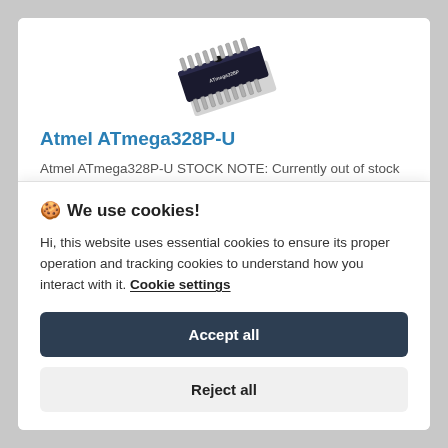[Figure (photo): ATmega328P-U DIP microcontroller chip photographed at an angle showing pins and black body]
Atmel ATmega328P-U
Atmel ATmega328P-U STOCK NOTE: Currently out of stock with suppliers. Estimated availability ..
🍪 We use cookies!
Hi, this website uses essential cookies to ensure its proper operation and tracking cookies to understand how you interact with it. Cookie settings
Accept all
Reject all